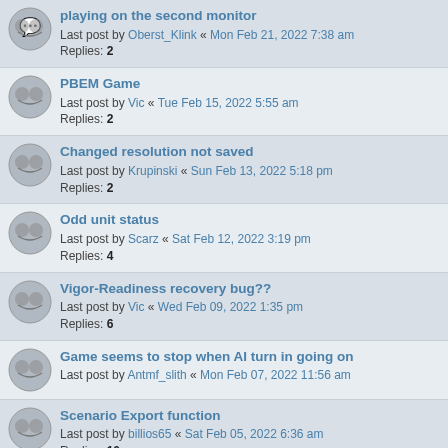playing on the second monitor
Last post by Oberst_Klink « Mon Feb 21, 2022 7:38 am
Replies: 2
PBEM Game
Last post by Vic « Tue Feb 15, 2022 5:55 am
Replies: 2
Changed resolution not saved
Last post by Krupinski « Sun Feb 13, 2022 5:18 pm
Replies: 2
Odd unit status
Last post by Scarz « Sat Feb 12, 2022 3:19 pm
Replies: 4
Vigor-Readiness recovery bug??
Last post by Vic « Wed Feb 09, 2022 1:35 pm
Replies: 6
Game seems to stop when AI turn in going on
Last post by Antmf_slith « Mon Feb 07, 2022 11:56 am
Scenario Export function
Last post by billios65 « Sat Feb 05, 2022 6:36 am
Replies: 10
Screen display is very small, counters small, etc
Last post by Vic « Thu Feb 03, 2022 4:40 am
Replies: 2
'Jump to its map location' don't work
Last post by Vic « Mon Jan 31, 2022 11:17 am
Replies: 1
Unzip Crashing
Last post by billios65 « Tue Jan 25, 2022 2:14 pm